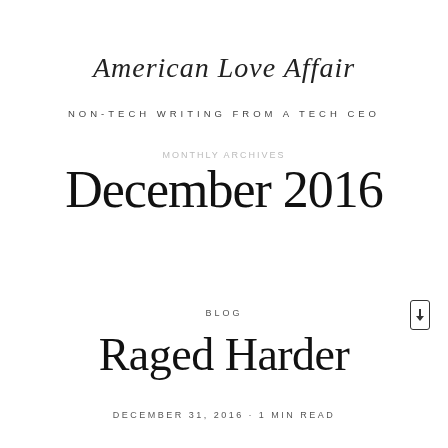American Love Affair
NON-TECH WRITING FROM A TECH CEO
Monthly Archives
December 2016
BLOG
Raged Harder
DECEMBER 31, 2016 · 1 MIN READ